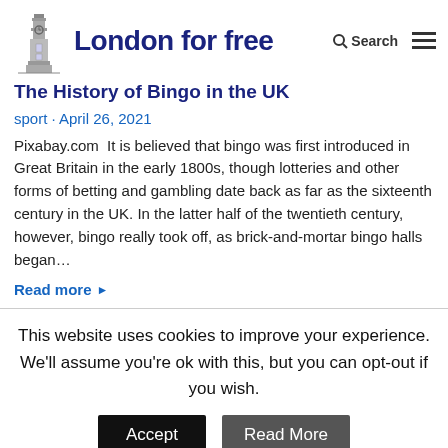[Figure (logo): London for free logo with Big Ben illustration and bold navy text]
The History of Bingo in the UK
sport · April 26, 2021
Pixabay.com  It is believed that bingo was first introduced in Great Britain in the early 1800s, though lotteries and other forms of betting and gambling date back as far as the sixteenth century in the UK. In the latter half of the twentieth century, however, bingo really took off, as brick-and-mortar bingo halls began…
Read more ▶
This website uses cookies to improve your experience. We'll assume you're ok with this, but you can opt-out if you wish.